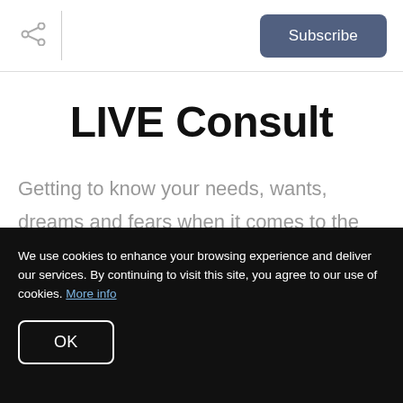Subscribe
LIVE Consult
Getting to know your needs, wants, dreams and fears when it comes to the purchase of your new home is always important. While
We use cookies to enhance your browsing experience and deliver our services. By continuing to visit this site, you agree to our use of cookies. More info
OK